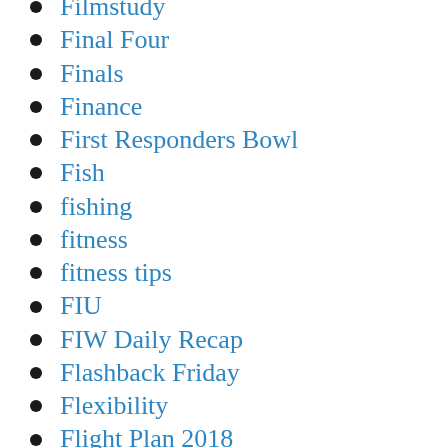Filmstudy
Final Four
Finals
Finance
First Responders Bowl
Fish
fishing
fitness
fitness tips
FIU
FIW Daily Recap
Flashback Friday
Flexibility
Flight Plan 2018
Florida
Florida Atlantic
Florida Gators